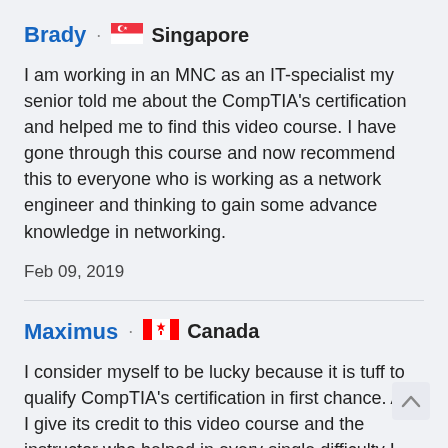Brady · 🇸🇬 Singapore
I am working in an MNC as an IT-specialist my senior told me about the CompTIA's certification and helped me to find this video course. I have gone through this course and now recommend this to everyone who is working as a network engineer and thinking to gain some advance knowledge in networking.
Feb 09, 2019
Maximus · 🍁 Canada
I consider myself to be lucky because it is tuff to qualify CompTIA's certification in first chance. And I give its credit to this video course and the instructor who helped in every single difficulty I have faced during this training. The instructor is a helpful and nice-hearted person with amazing teaching skills